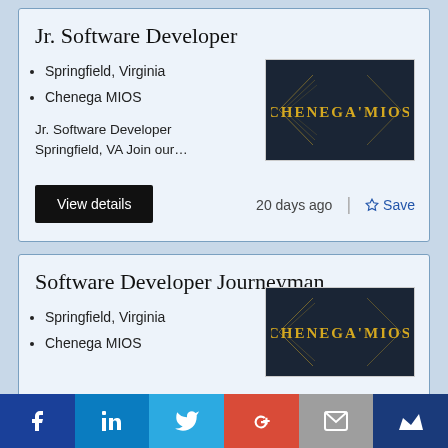Jr. Software Developer
Springfield, Virginia
Chenega MIOS
Jr. Software Developer Springfield, VA Join our…
[Figure (logo): Chenega MIOS logo on dark background]
View details   20 days ago   Save
Software Developer Journeyman
Springfield, Virginia
Chenega MIOS
[Figure (logo): Chenega MIOS logo on dark background]
[Figure (infographic): Social share bar with Facebook, LinkedIn, Twitter, Google+, Email, and crown icons]